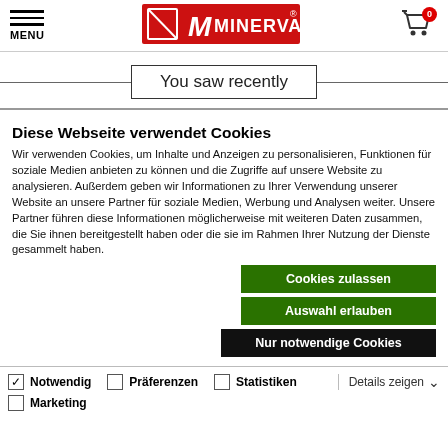[Figure (logo): Minerva brand logo with red background, white M and text MINERVA with registered trademark symbol]
You saw recently
Diese Webseite verwendet Cookies
Wir verwenden Cookies, um Inhalte und Anzeigen zu personalisieren, Funktionen für soziale Medien anbieten zu können und die Zugriffe auf unsere Website zu analysieren. Außerdem geben wir Informationen zu Ihrer Verwendung unserer Website an unsere Partner für soziale Medien, Werbung und Analysen weiter. Unsere Partner führen diese Informationen möglicherweise mit weiteren Daten zusammen, die Sie ihnen bereitgestellt haben oder die sie im Rahmen Ihrer Nutzung der Dienste gesammelt haben.
Cookies zulassen
Auswahl erlauben
Nur notwendige Cookies
Notwendig   Präferenzen   Statistiken   Marketing   Details zeigen